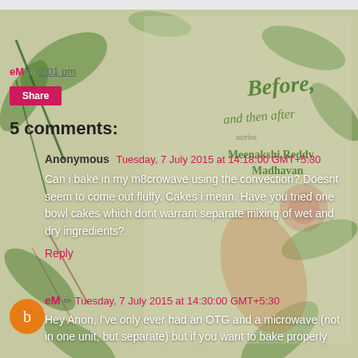[Figure (illustration): Decorative book cover illustration showing 'Before, and then after' by Meenakshi Reddy Madhavan with floral and food motifs on a green/tan background, used as page background]
eM at 2:01 pm
Share
5 comments:
Anonymous Tuesday, 7 July 2015 at 14:18:00 GMT+5:30
Can i bake in my m8crowave using the convection? Doesnt seem to come out fluffy. Cakes i mean. Have you tried one bowl cakes which dont warrant separate mixing of wet and dry ingredients?
Reply
eM ✏ Tuesday, 7 July 2015 at 14:30:00 GMT+5:30
Hey Anon, I've only ever had an OTG and a microwave (not in one unit, but separate) but if you want to bake properly